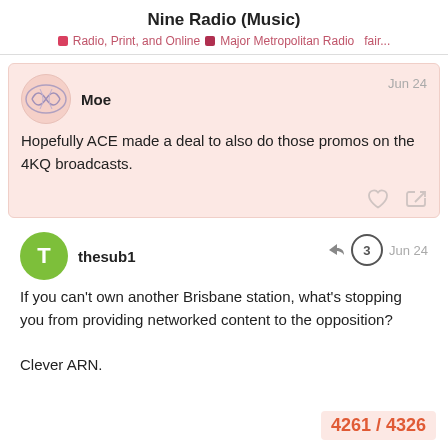Nine Radio (Music)
Radio, Print, and Online  Major Metropolitan Radio  fair...
Moe
Jun 24
Hopefully ACE made a deal to also do those promos on the 4KQ broadcasts.
thesub1
Jun 24
If you can't own another Brisbane station, what's stopping you from providing networked content to the opposition?

Clever ARN.
4261 / 4326